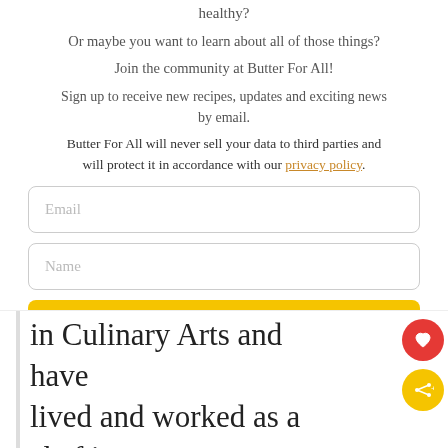healthy?
Or maybe you want to learn about all of those things?
Join the community at Butter For All!
Sign up to receive new recipes, updates and exciting news by email.
Butter For All will never sell your data to third parties and will protect it in accordance with our privacy policy.
Email
Name
SUBSCRIBE
in Culinary Arts and have lived and worked as a chef in the crazy-intense restaurant